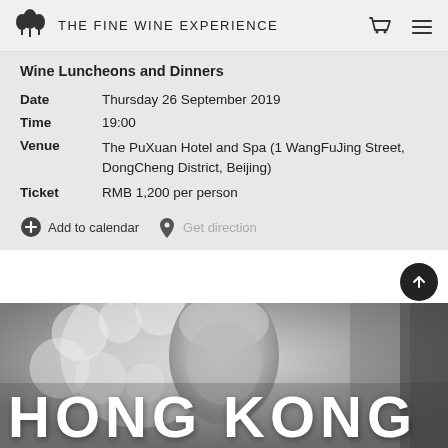THE FINE WINE EXPERIENCE
Wine Luncheons and Dinners
| Date | Thursday 26 September 2019 |
| Time | 19:00 |
| Venue | The PuXuan Hotel and Spa (1 WangFuJing Street, DongCheng District, Beijing) |
| Ticket | RMB 1,200 per person |
+ Add to calendar
Get direction
[Figure (photo): Grayscale photo of an elderly man with white hair, with a decorative white floral/circular pattern in the background. Large white text 'HONG KONG' overlays the bottom of the image.]